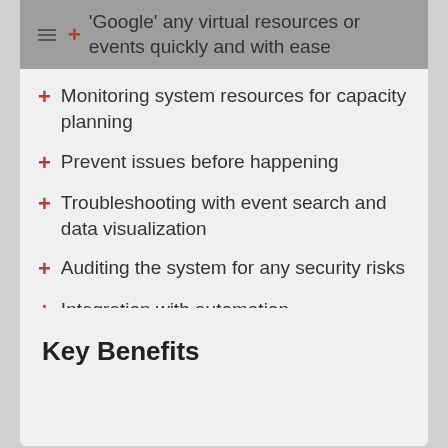'Google' any virtual resources or events quickly and with ease
Monitoring system resources for capacity planning
Prevent issues before happening
Troubleshooting with event search and data visualization
Auditing the system for any security risks
Integration with automation, orchestration, portal systems
Key Benefits